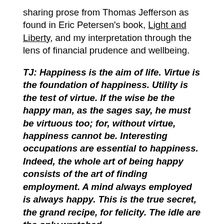sharing prose from Thomas Jefferson as found in Eric Petersen's book, Light and Liberty, and my interpretation through the lens of financial prudence and wellbeing.
TJ: Happiness is the aim of life. Virtue is the foundation of happiness. Utility is the test of virtue. If the wise be the happy man, as the sages say, he must be virtuous too; for, without virtue, happiness cannot be. Interesting occupations are essential to happiness. Indeed, the whole art of being happy consists of the art of finding employment. A mind always employed is always happy. This is the true secret, the grand recipe, for felicity. The idle are the only wretched.